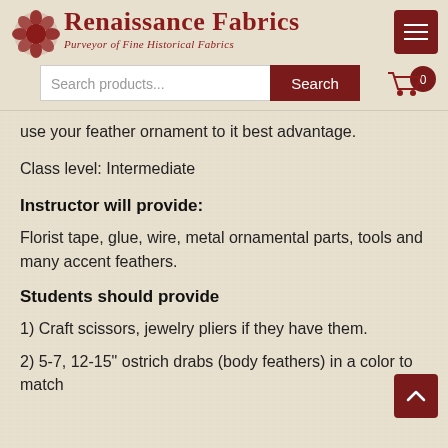Renaissance Fabrics — Purveyor of Fine Historical Fabrics
use your feather ornament to it best advantage.
Class level: Intermediate
Instructor will provide:
Florist tape, glue, wire, metal ornamental parts, tools and many accent feathers.
Students should provide
1) Craft scissors, jewelry pliers if they have them.
2) 5-7, 12-15" ostrich drabs (body feathers) in a color to match